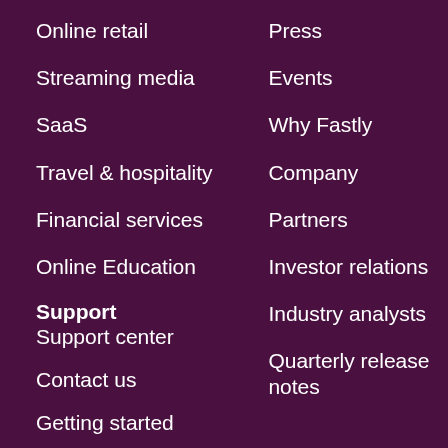Online retail
Streaming media
SaaS
Travel & hospitality
Financial services
Online Education
Press
Events
Why Fastly
Company
Partners
Investor relations
Industry analysts
Quarterly release notes
Support
Support center
Contact us
Getting started
Resources